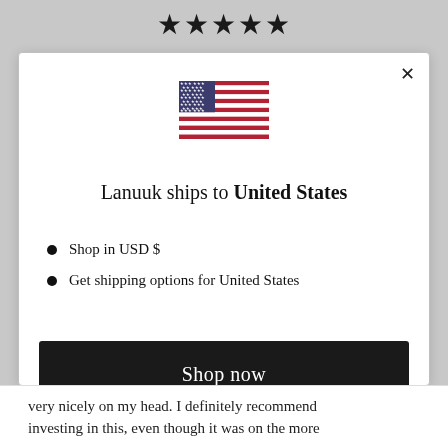[Figure (other): Five black star rating icons displayed at top of page]
[Figure (illustration): US flag SVG illustration centered in modal dialog]
Lanuuk ships to United States
Shop in USD $
Get shipping options for United States
Shop now
Change shipping country
very nicely on my head. I definitely recommend investing in this, even though it was on the more